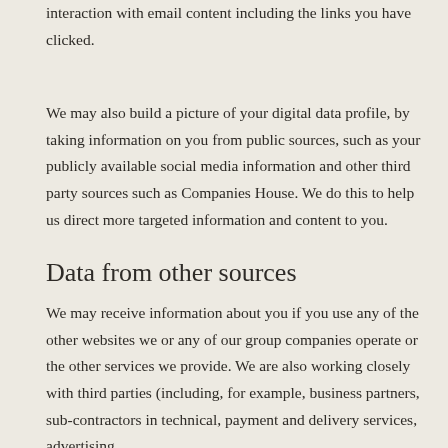interaction with email content including the links you have clicked.
We may also build a picture of your digital data profile, by taking information on you from public sources, such as your publicly available social media information and other third party sources such as Companies House. We do this to help us direct more targeted information and content to you.
Data from other sources
We may receive information about you if you use any of the other websites we or any of our group companies operate or the other services we provide. We are also working closely with third parties (including, for example, business partners, sub-contractors in technical, payment and delivery services, advertising